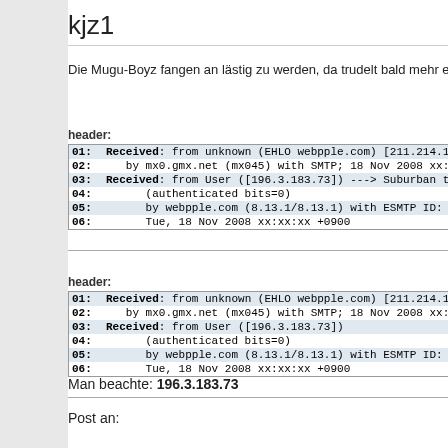kjz1
Die Mugu-Boyz fangen an lästig zu werden, da trudelt bald mehr ei
header:
| 01: | Received: from unknown (EHLO webpple.com) [211.214.161 |
| 02: |    by mx0.gmx.net (mx045) with SMTP; 18 Nov 2008 xx:xx: |
| 03: | Received: from User ([196.3.183.73]) ---> Suburban tel |
| 04: |       (authenticated bits=0) |
| 05: |       by webpple.com (8.13.1/8.13.1) with ESMTP ID: [ID |
| 06: |       Tue, 18 Nov 2008 xx:xx:xx +0900 |
header:
| 01: | Received: from unknown (EHLO webpple.com) [211.214.161 |
| 02: |    by mx0.gmx.net (mx045) with SMTP; 18 Nov 2008 xx:xx: |
| 03: | Received: from User ([196.3.183.73]) |
| 04: |       (authenticated bits=0) |
| 05: |       by webpple.com (8.13.1/8.13.1) with ESMTP ID: [ID |
| 06: |       Tue, 18 Nov 2008 xx:xx:xx +0900 |
Man beachte: 196.3.183.73
Post an: